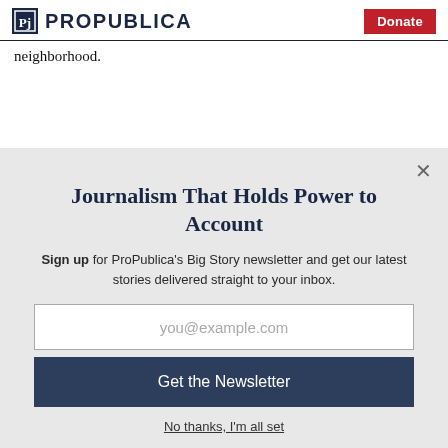ProPublica | Donate
neighborhood.
Journalism That Holds Power to Account
Sign up for ProPublica's Big Story newsletter and get our latest stories delivered straight to your inbox.
you@example.com
Get the Newsletter
No thanks, I'm all set
This site is protected by reCAPTCHA and the Google Privacy Policy and Terms of Service apply.